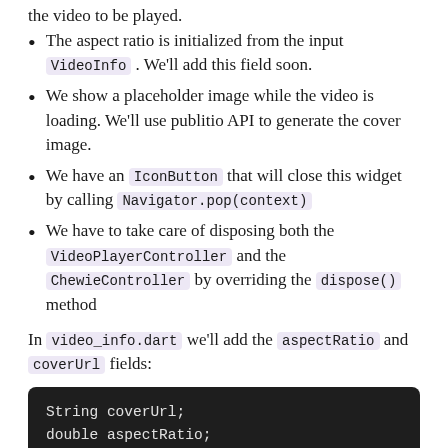the video to be played.
The aspect ratio is initialized from the input VideoInfo . We'll add this field soon.
We show a placeholder image while the video is loading. We'll use publitio API to generate the cover image.
We have an IconButton that will close this widget by calling Navigator.pop(context)
We have to take care of disposing both the VideoPlayerController and the ChewieController by overriding the dispose() method
In video_info.dart we'll add the aspectRatio and coverUrl fields:
[Figure (screenshot): Code block with dark background showing: String coverUrl; double aspectRatio;]